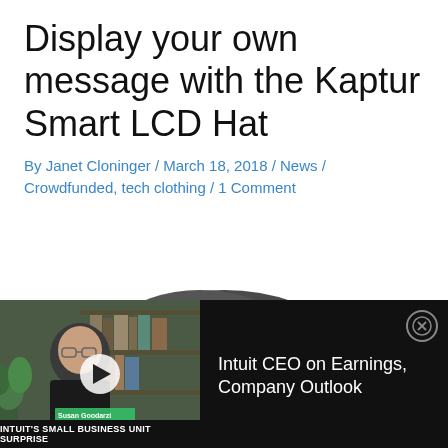Display your own message with the Kaptur Smart LCD Hat
By Janet Cloninger / March 18, 2018 / News / Crowdfunded, tech clothing / 1 Comment
[Figure (photo): Close-up photo of the top/back of a dark grey baseball cap on a white background]
[Figure (screenshot): Video overlay showing a man in a black jacket with glasses against a bookshelf background. Lower bar text reads INTUIT'S SMALL BUSINESS UNIT SURPRISE. Name tag shows Susan Goodarzi / Intuit CEO. Video title: Intuit CEO on Earnings, Company Outlook. Close button in top right corner.]